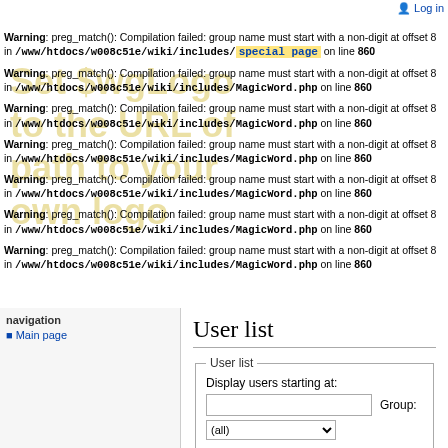Log in
Warning: preg_match(): Compilation failed: group name must start with a non-digit at offset 8 in /www/htdocs/w008c51e/wiki/includes/MagicWord.php on line 860
Warning: preg_match(): Compilation failed: group name must start with a non-digit at offset 8 in /www/htdocs/w008c51e/wiki/includes/MagicWord.php on line 860
Warning: preg_match(): Compilation failed: group name must start with a non-digit at offset 8 in /www/htdocs/w008c51e/wiki/includes/MagicWord.php on line 860
Warning: preg_match(): Compilation failed: group name must start with a non-digit at offset 8 in /www/htdocs/w008c51e/wiki/includes/MagicWord.php on line 860
Warning: preg_match(): Compilation failed: group name must start with a non-digit at offset 8 in /www/htdocs/w008c51e/wiki/includes/MagicWord.php on line 860
Warning: preg_match(): Compilation failed: group name must start with a non-digit at offset 8 in /www/htdocs/w008c51e/wiki/includes/MagicWord.php on line 860
Warning: preg_match(): Compilation failed: group name must start with a non-digit at offset 8 in /www/htdocs/w008c51e/wiki/includes/MagicWord.php on line 860
User list
Display users starting at: Group: (all)
navigation
Main page